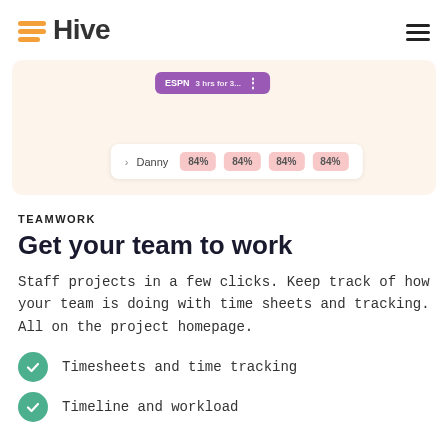[Figure (logo): Hive logo with orange horizontal bars icon and dark 'Hive' text]
[Figure (screenshot): App UI screenshot showing ESPN purple pill label, and a row with Danny name and four 84% pink badges]
TEAMWORK
Get your team to work
Staff projects in a few clicks. Keep track of how your team is doing with time sheets and tracking. All on the project homepage.
Timesheets and time tracking
Timeline and workload